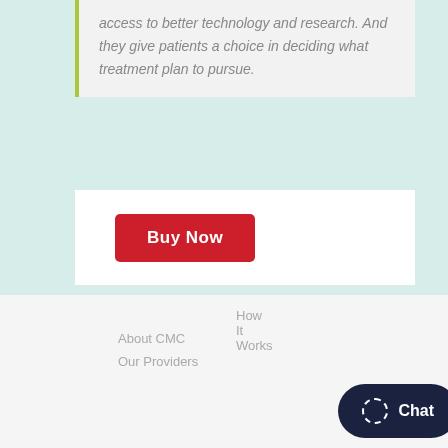access to better technology and research. And they give patients a choice in deciding what treatment plan to pursue.
[Figure (other): Red 'Buy Now' button]
About CMC
Our Providers
How It Works
[Figure (other): Dark navy Chat button with dashed circle icon]